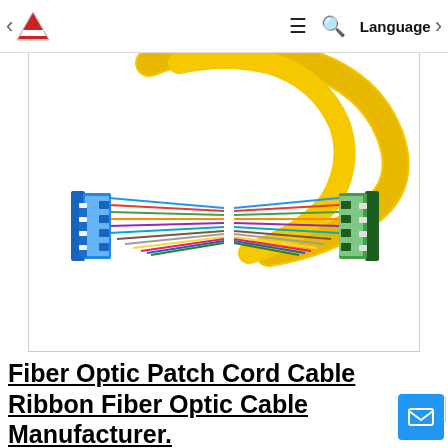< [Logo] ≡ Q Language >
[Figure (photo): Fiber optic patch cord cable ribbon — multiple colored fiber optic cables bundled together with blue LC connectors on one end and green LC/APC connectors on the other, forming an X-cross shape with a yellow main cable bundle.]
Fiber Optic Patch Cord Cable Ribbon Fiber Optic Cable Manufacturer.
Top